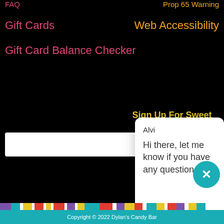FAQ
Prop 65 Warning
Gift Cards
Web Accessibility
Gift Card Balance Checker
Sign Up For Sweet News & Deals
[Figure (screenshot): Chat widget popup from Gorgias with agent name 'Alvi' and message 'Hi there, let me know if you have any questions :)'. Includes 'Powered by gorgias' footer and 'Click to reply' input area.]
Need Help?
CustomerSe...
Copyright © 2022 Dylan's Candy Bar